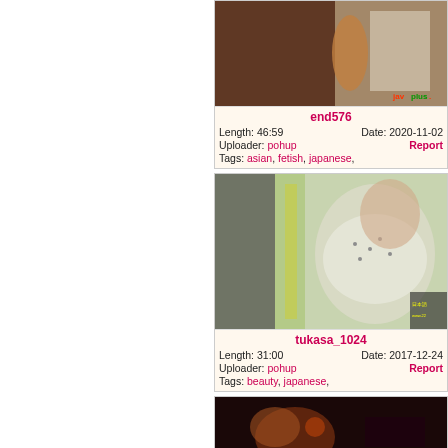[Figure (screenshot): Video thumbnail for end576, dark/brown tones]
end576
Length: 46:59   Date: 2020-11-02
Uploader: pohup   Report
Tags: asian, fetish, japanese,
[Figure (screenshot): Video thumbnail for tukasa_1024, green/white tones, woman in polka dot top]
tukasa_1024
Length: 31:00   Date: 2017-12-24
Uploader: pohup   Report
Tags: beauty, japanese,
[Figure (screenshot): Video thumbnail, dark reddish tones, partial view at bottom]